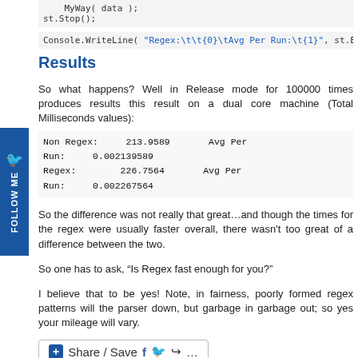MyWay( data );  st.Stop();
Console.WriteLine( "Regex:\t\t{0}\tAvg Per Run:\t{1}", st.Elapsed.To
Results
So what happens? Well in Release mode for 100000 times produces results this result on a dual core machine (Total Milliseconds values):
Non Regex:    213.9589    Avg Per Run:    0.002139589
Regex:        226.7564    Avg Per Run:    0.002267564
So the difference was not really that great…and though the times for the regex were usually faster overall, there wasn't too great of a difference between the two.
So one has to ask, “Is Regex fast enough for you?”
I believe that to be yes! Note, in fairness, poorly formed regex patterns will the parser down, but garbage in garbage out; so yes your mileage will vary.
[Figure (other): Share / Save button with social media icons]
Tags: Regular Expressions, String.Split
Category: Regular Expressions | 7 Comments
Linq Orderby a Better IComparer in C#
February 5, 2009, 9:16 am